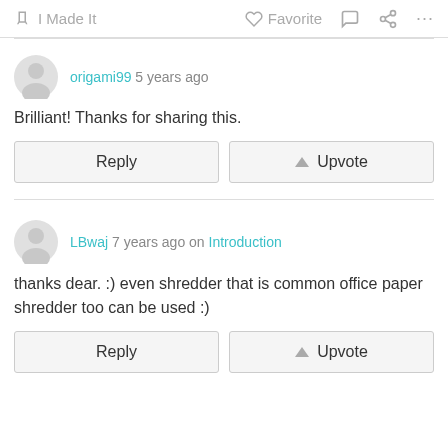✋ I Made It   ♡ Favorite   💬   ⋮
origami99 5 years ago
Brilliant! Thanks for sharing this.
Reply | Upvote
LBwaj 7 years ago on Introduction
thanks dear. :) even shredder that is common office paper shredder too can be used :)
Reply | Upvote